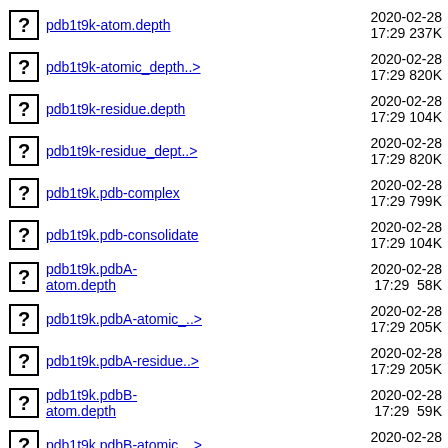pdb1t9k-atom.depth  2020-02-28 17:29  237K
pdb1t9k-atomic_depth..>  2020-02-28 17:29  820K
pdb1t9k-residue.depth  2020-02-28 17:29  104K
pdb1t9k-residue_dept..>  2020-02-28 17:29  820K
pdb1t9k.pdb-complex  2020-02-28 17:29  799K
pdb1t9k.pdb-consolidate  2020-02-28 17:29  104K
pdb1t9k.pdbA-atom.depth  2020-02-28 17:29  58K
pdb1t9k.pdbA-atomic_..>  2020-02-28 17:29  205K
pdb1t9k.pdbA-residue..>  2020-02-28 17:29  205K
pdb1t9k.pdbB-atom.depth  2020-02-28 17:29  59K
pdb1t9k.pdbB-atomic_..>  2020-02-28 17:29  205K
pdb1t9k.pdbB-residue..>  2020-02-28